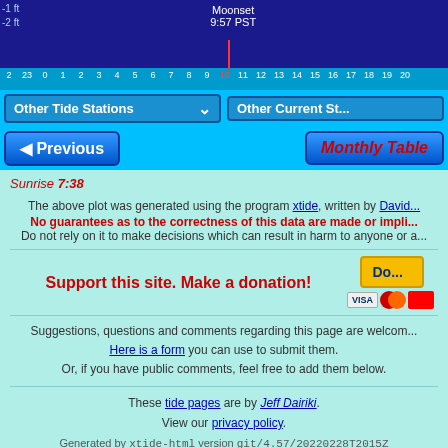[Figure (other): Tidal chart with navy blue background showing tide curve, moonset label at 9:57 PST, and time ruler from 22 to 20]
Other Tide Stations dropdown and Other Current Stations button
Previous button and Monthly Table button
Sunrise 7:38
The above plot was generated using the program xtide, written by David. No guarantees as to the correctness of this data are made or implied. Do not rely on it to make decisions which can result in harm to anyone or anything.
Support this site. Make a donation!
Suggestions, questions and comments regarding this page are welcome. Here is a form you can use to submit them. Or, if you have public comments, feel free to add them below.
These tide pages are by Jeff Dairiki. View our privacy policy.
Generated by xtide-html version git/4.57/20220228T2015Z